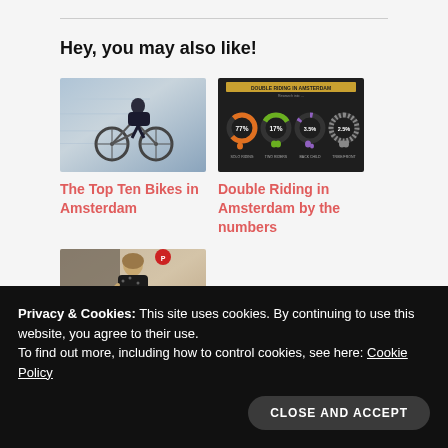Hey, you may also like!
[Figure (photo): Person riding a bicycle on a city street, motion blur background]
The Top Ten Bikes in Amsterdam
[Figure (infographic): Double Riding in Amsterdam infographic with donut charts showing 77%, 17%, 3.5%, 2.5% statistics]
Double Riding in Amsterdam by the numbers
[Figure (photo): Woman with a wicker basket on a bicycle]
Privacy & Cookies: This site uses cookies. By continuing to use this website, you agree to their use.
To find out more, including how to control cookies, see here: Cookie Policy
CLOSE AND ACCEPT